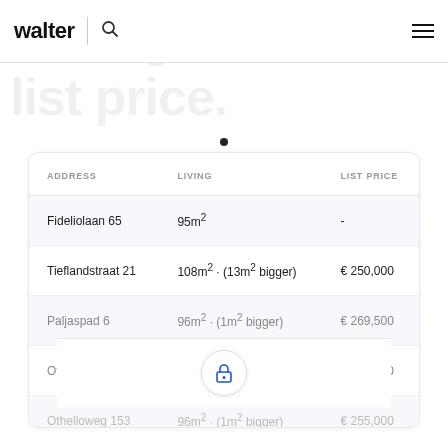walter
| ADDRESS | LIVING | LIST PRICE |
| --- | --- | --- |
| Fideliolaan 65 | 95m² | - |
| Tieflandstraat 21 | 108m² · (13m² bigger) | € 250,000 |
| Paljaspad 6 | 96m² · (1m² bigger) | € 269,500 |
| Othelloweg 159 | 96m² · (1m² bigger) | € 250,000 |
| Othelloweg 153 | 96m² · (1m² bigger) | € 255,000 |